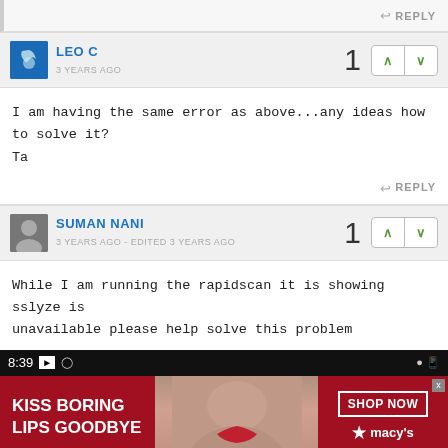REPLY
LEO C
3 YEARS AGO
I am having the same error as above...any ideas how to solve it?
Ta
REPLY
SUMAN NANI
3 YEARS AGO - EDITED 3 YEARS AGO
While I am running the rapidscan it is showing sslyze is unavailable please help solve this problem
[Figure (screenshot): Mobile terminal screenshot showing time 8:39 with command prompt icons]
[Figure (photo): Macy's advertisement banner: KISS BORING LIPS GOODBYE with woman's face and SHOP NOW button with Macy's star logo]